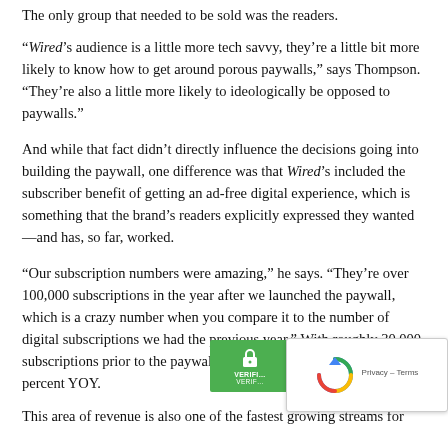The only group that needed to be sold was the readers.
“Wired’s audience is a little more tech savvy, they’re a little bit more likely to know how to get around porous paywalls,” says Thompson. “They’re also a little more likely to ideologically be opposed to paywalls.”
And while that fact didn’t directly influence the decisions going into building the paywall, one difference was that Wired’s included the subscriber benefit of getting an ad-free digital experience, which is something that the brand’s readers explicitly expressed they wanted—and has, so far, worked.
“Our subscription numbers were amazing,” he says. “They’re over 100,000 subscriptions in the year after we launched the paywall, which is a crazy number when you compare it to the number of digital subscriptions we had the previous year.” With roughly 30,000 subscriptions prior to the paywall, the number is u… percent YOY.
This area of revenue is also one of the fastest growing streams for